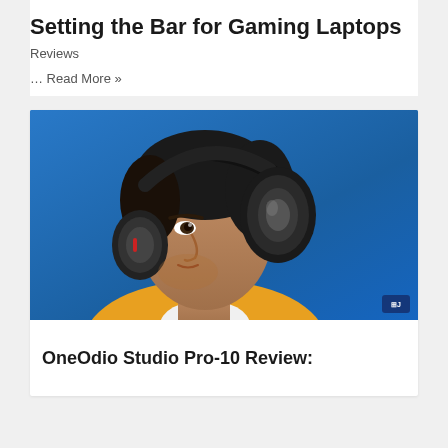Setting the Bar for Gaming Laptops
Reviews
… Read More »
[Figure (photo): A man wearing black over-ear headphones (OneOdio Studio Pro-10) against a blue background, wearing a yellow and white shirt, viewed from the side]
OneOdio Studio Pro-10 Review: